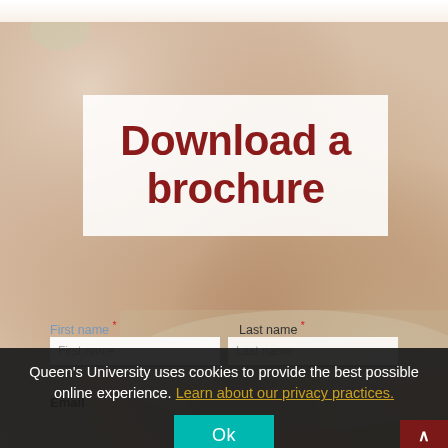[Figure (photo): Blurred warm-toned background showing a person working on a laptop, with soft beige and brown tones]
Download a brochure
First name *
Last name *
First name
Last name
Email *
Queen's University uses cookies to provide the best possible online experience. Learn about our privacy practices.
Ok